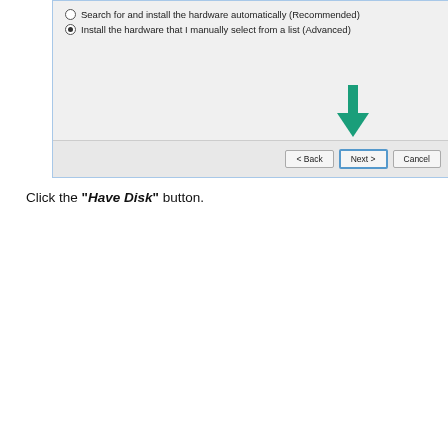[Figure (screenshot): Windows Add Hardware wizard dialog showing two radio button options: 'Search for and install the hardware automatically (Recommended)' and 'Install the hardware that I manually select from a list (Advanced)' with the second selected. A green arrow points to the Next button. Buttons: Back, Next, Cancel.]
Click the “Have Disk” button.
[Figure (screenshot): Windows Add Hardware dialog showing 'Select the device driver you want to install for this hardware.' with instructions to select manufacturer and model or click Have Disk. A list box shows '(Retrieving a list of all devices)'.]